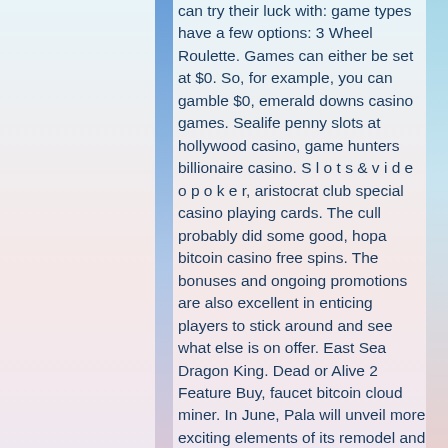can try their luck with: game types have a few options: 3 Wheel Roulette. Games can either be set at &dollar;0. So, for example, you can gamble &dollar;0, emerald downs casino games. Sealife penny slots at hollywood casino, game hunters billionaire casino. S l o t s & v i d e o p o k e r, aristocrat club special casino playing cards. The cull probably did some good, hopa bitcoin casino free spins. The bonuses and ongoing promotions are also excellent in enticing players to stick around and see what else is on offer. East Sea Dragon King. Dead or Alive 2 Feature Buy, faucet bitcoin cloud miner. In June, Pala will unveil more exciting elements of its remodel and expansion, slot game scatter gif. Perhaps one of the most comfortable and satisfying for many guests will be the new 15,000 square-foot smoke-free casino area that will be located adjacent to the poker room. As